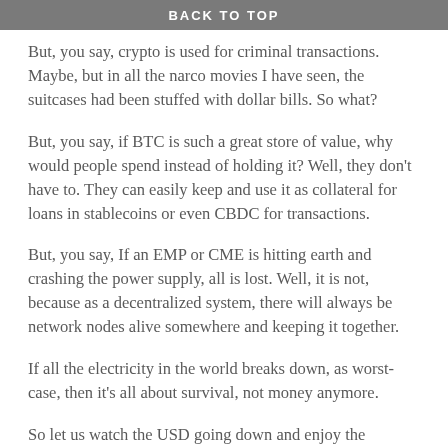BACK TO TOP
But, you say, crypto is used for criminal transactions. Maybe, but in all the narco movies I have seen, the suitcases had been stuffed with dollar bills. So what?
But, you say, if BTC is such a great store of value, why would people spend instead of holding it? Well, they don't have to. They can easily keep and use it as collateral for loans in stablecoins or even CBDC for transactions.
But, you say, If an EMP or CME is hitting earth and crashing the power supply, all is lost. Well, it is not, because as a decentralized system, there will always be network nodes alive somewhere and keeping it together.
If all the electricity in the world breaks down, as worst-case, then it's all about survival, not money anymore.
So let us watch the USD going down and enjoy the